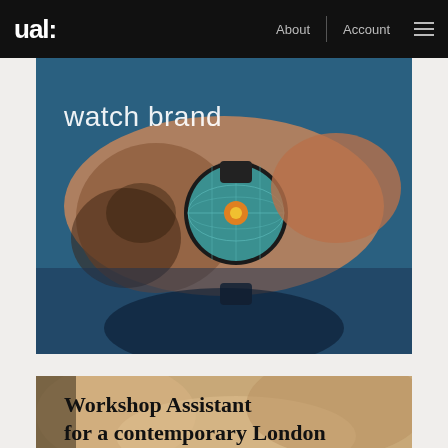ual: | About | Account | ≡
[Figure (photo): Close-up photo of a tattooed arm wearing a watch with a teal globe-style face, overlaid text reads 'watch brand']
[Figure (photo): Partial photo with text overlay reading 'Workshop Assistant for a contemporary London']